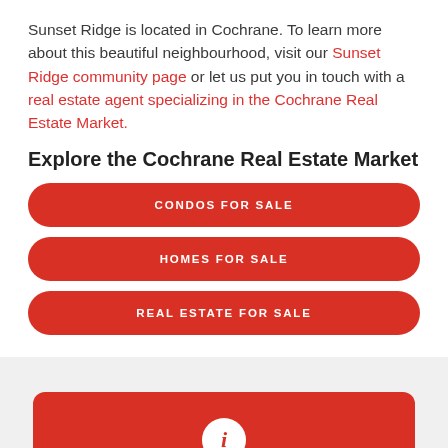Sunset Ridge is located in Cochrane. To learn more about this beautiful neighbourhood, visit our Sunset Ridge community page or let us put you in touch with a real estate agent specializing in the Cochrane Real Estate Market.
Explore the Cochrane Real Estate Market
CONDOS FOR SALE
HOMES FOR SALE
REAL ESTATE FOR SALE
[Figure (other): Red rounded rectangle button with a white circle info icon (i) in the center]